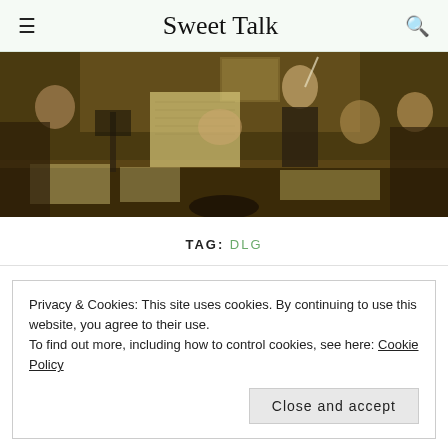Sweet Talk
[Figure (photo): A classic painting depicting a group of men sitting and standing around a table, reading and discussing papers and documents.]
TAG: DLG
Privacy & Cookies: This site uses cookies. By continuing to use this website, you agree to their use.
To find out more, including how to control cookies, see here: Cookie Policy
Close and accept
ON JUNE 20, 2014 / BY SPIVONOMIST